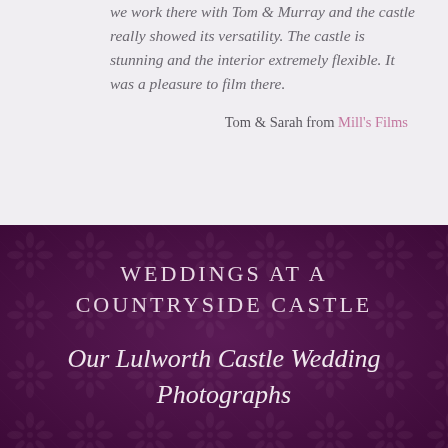we work there with Tom & Murray and the castle really showed its versatility. The castle is stunning and the interior extremely flexible. It was a pleasure to film there.
Tom & Sarah from Mill's Films
WEDDINGS AT A COUNTRYSIDE CASTLE
Our Lulworth Castle Wedding Photographs